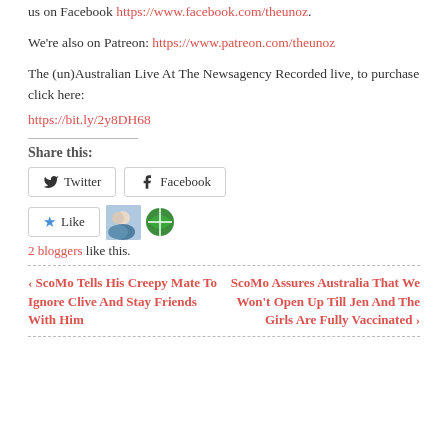us on Facebook https://www.facebook.com/theunoz.
We're also on Patreon: https://www.patreon.com/theunoz
The (un)Australian Live At The Newsagency Recorded live, to purchase click here:
https://bit.ly/2y8DH68
Share this:
[Figure (other): Twitter and Facebook share buttons]
[Figure (other): Like button with 2 blogger avatars]
2 bloggers like this.
‹ ScoMo Tells His Creepy Mate To Ignore Clive And Stay Friends With Him
ScoMo Assures Australia That We Won't Open Up Till Jen And The Girls Are Fully Vaccinated ›